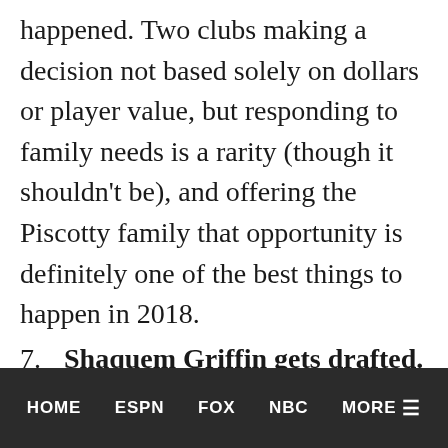happened. Two clubs making a decision not based solely on dollars or player value, but responding to family needs is a rarity (though it shouldn't be), and offering the Piscotty family that opportunity is definitely one of the best things to happen in 2018.
7. Shaquem Griffin gets drafted. Griffin had his hand amputated when he was four years old, but he was not going to give up on his dream of playing football, just like his twin
HOME   ESPN   FOX   NBC   MORE